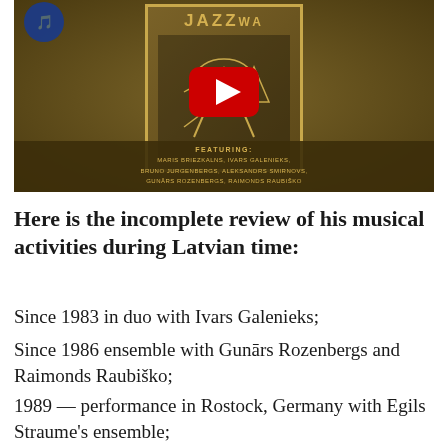[Figure (screenshot): YouTube video thumbnail showing a jazz album cover with ornamental border on dark olive/brown background. Features a YouTube play button overlay. Text reads 'JAZZWA' at top, with 'FEATURING: MARIS BRIEZKALNS, IVARS GALENIEKS, BRUNO JURGENBERGS, ALEKSANDRS SMIRNOVS, GUNARS ROZENBERGS, RAIMONDS RAUBISKO' at bottom.]
Here is the incomplete review of his musical activities during Latvian time:
Since 1983 in duo with Ivars Galenieks;
Since 1986 ensemble with Gunārs Rozenbergs and Raimonds Raubiško;
1989 — performance in Rostock, Germany with Egils Straume's ensemble;
1989-1990 duo with Olga Pīrāgs,